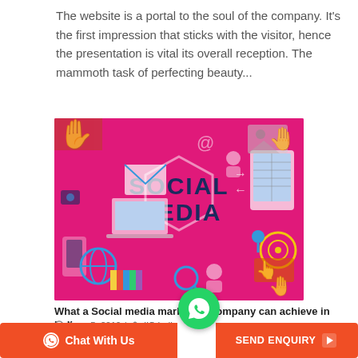The website is a portal to the soul of the company. It's the first impression that sticks with the visitor, hence the presentation is vital its overall reception. The mammoth task of perfecting beauty...
[Figure (illustration): Pink/magenta social media marketing illustration with text 'SOCIAL MEDIA' in the center inside a hexagonal shape, surrounded by icons of devices, communication, and hands interacting with digital content.]
What a Social media marketing company can achieve in India
June 5, 2019 / IIS India
Social media has become an inescapable part of human culture. Advertising online on social me... reinventing the wh...